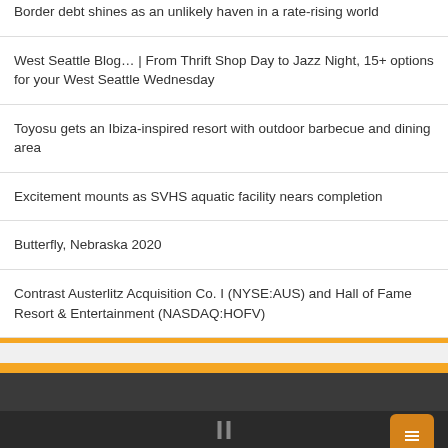Border debt shines as an unlikely haven in a rate-rising world
West Seattle Blog… | From Thrift Shop Day to Jazz Night, 15+ options for your West Seattle Wednesday
Toyosu gets an Ibiza-inspired resort with outdoor barbecue and dining area
Excitement mounts as SVHS aquatic facility nears completion
Butterfly, Nebraska 2020
Contrast Austerlitz Acquisition Co. I (NYSE:AUS) and Hall of Fame Resort & Entertainment (NASDAQ:HOFV)